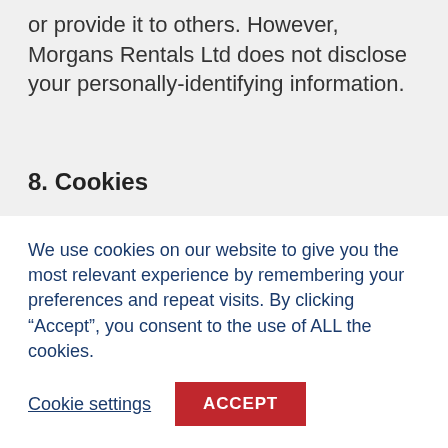or provide it to others. However, Morgans Rentals Ltd does not disclose your personally-identifying information.
8. Cookies
To enrich and perfect your online experience, Morgans Rentals Ltd uses “Cookies”, similar technologies and services provided by others to display personalised content, appropriate advertising and store your preferences on your computer.
We use cookies on our website to give you the most relevant experience by remembering your preferences and repeat visits. By clicking “Accept”, you consent to the use of ALL the cookies.
Cookie settings
ACCEPT